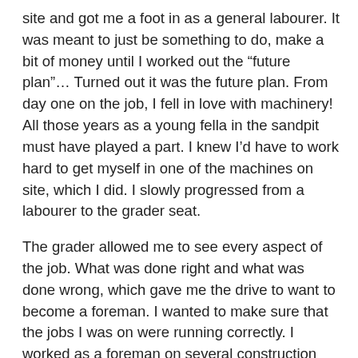site and got me a foot in as a general labourer. It was meant to just be something to do, make a bit of money until I worked out the “future plan”… Turned out it was the future plan. From day one on the job, I fell in love with machinery! All those years as a young fella in the sandpit must have played a part. I knew I’d have to work hard to get myself in one of the machines on site, which I did. I slowly progressed from a labourer to the grader seat.
The grader allowed me to see every aspect of the job. What was done right and what was done wrong, which gave me the drive to want to become a foreman. I wanted to make sure that the jobs I was on were running correctly. I worked as a foreman on several construction sites and somewhere along the way we took the leap to buying our own excavator and hired it out on the side.